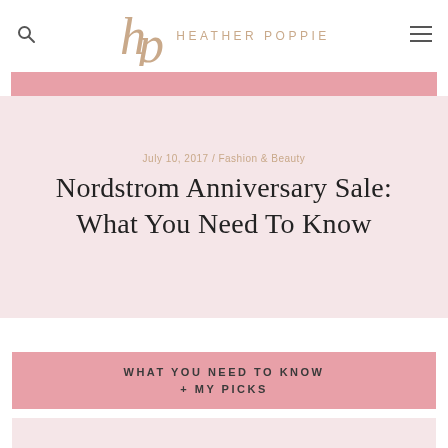HEATHER POPPIE
July 10, 2017 / Fashion & Beauty
Nordstrom Anniversary Sale: What You Need To Know
[Figure (infographic): Pink banner with text 'WHAT YOU NEED TO KNOW + MY PICKS']